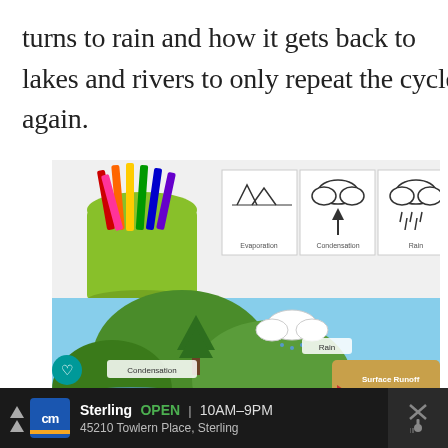turns to rain and how it gets back to lakes and rivers to only repeat the cycle again.
[Figure (photo): A photo showing a water cycle educational activity with a green cup of crayons and water cycle flashcards (Evaporation, Condensation, Rain, Transpiration) on top, and a colorful water cycle diagram/coloring sheet below showing Condensation, Transpiration, Rain, and Surface Runoff labels with arrows.]
Sterling  OPEN  10AM–9PM  45210 Towlern Place, Sterling